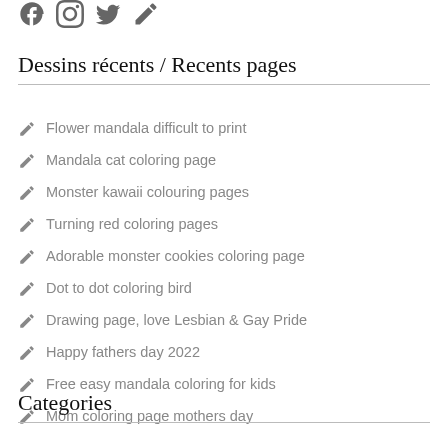[Figure (illustration): Social media icons: Facebook, Instagram, Twitter, and another icon (pencil/edit), displayed in gray at the top of the page.]
Dessins récents / Recents pages
Flower mandala difficult to print
Mandala cat coloring page
Monster kawaii colouring pages
Turning red coloring pages
Adorable monster cookies coloring page
Dot to dot coloring bird
Drawing page, love Lesbian & Gay Pride
Happy fathers day 2022
Free easy mandala coloring for kids
Mom coloring page mothers day
Categories